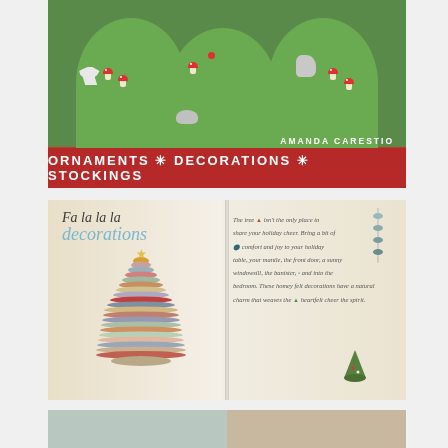[Figure (photo): Book cover showing green felt cone-shaped figures decorated with red mushrooms and animal silhouettes (deer, squirrel, hedgehog). Author name AMANDA CARESTIO. Red banner at bottom reads ORNAMENTS * DECORATIONS * STOCKINGS.]
[Figure (photo): Open book spread showing 'Fa la la la decorations' title on left page with a stacked fabric Christmas tree, and on the right page handwritten-style text with small decorative felt items (tree, wreath, bird mobile, small cone tree) embedded in the text.]
[Figure (photo): Partial bottom strip showing two more photos from the book, partially cropped.]